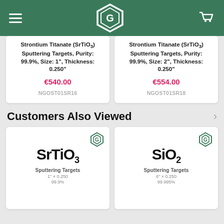Genvac (logo) — navigation header with hamburger menu and cart icon
Strontium Titanate (SrTiO3) Sputtering Targets, Purity: 99.9%, Size: 1", Thickness: 0.250"
€540.00
NGOST01SR16
Strontium Titanate (SrTiO3) Sputtering Targets, Purity: 99.9%, Size: 2", Thickness: 0.250"
€554.00
NGOST01SR18
Customers Also Viewed
[Figure (photo): Product thumbnail image for SrTiO3 Sputtering Targets, 1" x 0.250, 99.9%, with company logo in top-right corner]
[Figure (photo): Product thumbnail image for SiO2 Sputtering Targets, 6" x 0.250, 99.995%, with company logo in top-right corner]